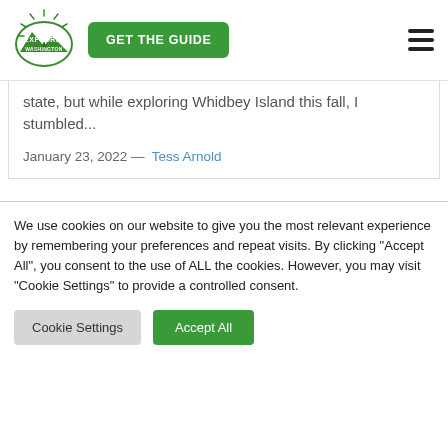Explore Washington State — GET THE GUIDE [hamburger menu]
state, but while exploring Whidbey Island this fall, I stumbled...
January 23, 2022 — Tess Arnold
We use cookies on our website to give you the most relevant experience by remembering your preferences and repeat visits. By clicking "Accept All", you consent to the use of ALL the cookies. However, you may visit "Cookie Settings" to provide a controlled consent.
Cookie Settings | Accept All